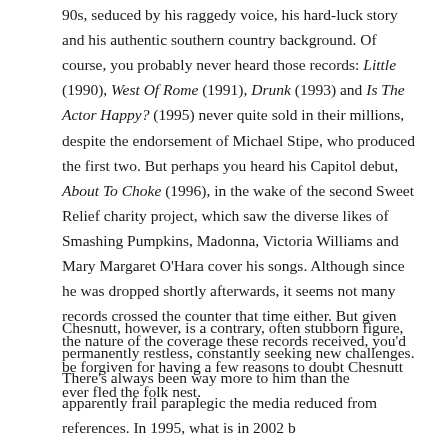90s, seduced by his raggedy voice, his hard-luck story and his authentic southern country background. Of course, you probably never heard those records: Little (1990), West Of Rome (1991), Drunk (1993) and Is The Actor Happy? (1995) never quite sold in their millions, despite the endorsement of Michael Stipe, who produced the first two. But perhaps you heard his Capitol debut, About To Choke (1996), in the wake of the second Sweet Relief charity project, which saw the diverse likes of Smashing Pumpkins, Madonna, Victoria Williams and Mary Margaret O'Hara cover his songs. Although since he was dropped shortly afterwards, it seems not many records crossed the counter that time either. But given the nature of the coverage these records received, you'd be forgiven for having a few reasons to doubt Chesnutt ever fled the folk nest.
Chesnutt, however, is a contrary, often stubborn figure, permanently restless, constantly seeking new challenges. There's always been way more to him than the apparently frail paraplegic the media reduced fromferences. In 1995, what is in 2002 b...